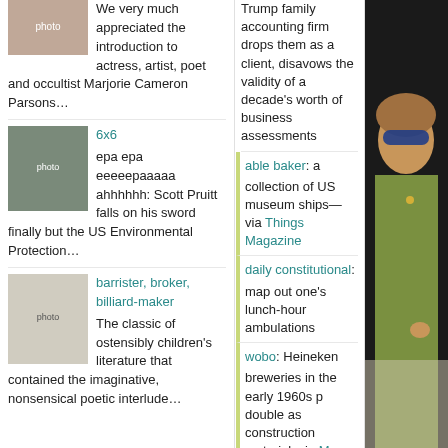[Figure (photo): Woman in sunglasses at dinner table - partially visible top left]
We very much appreciated the introduction to actress, artist, poet and occultist Marjorie Cameron Parsons…
6x6
[Figure (photo): Photo of Trump]
epa epa eeeeepaaaaa ahhhhhh: Scott Pruitt falls on his sword finally but the US Environmental Protection…
barrister, broker, billiard-maker
[Figure (photo): Black and white photo of children]
The classic of ostensibly children's literature that contained the imaginative, nonsensical poetic interlude…
Trump family accounting firm drops them as a client, disavows the validity of a decade's worth of business assessments
able baker: a collection of US museum ships— via Things Magazine
daily constitutional: map out one's lunch-hour ambulations
wobo: Heineken breweries in the early 1960s p double as construction material, via Messy Nes
metamates: Facebook staff receive a new offic branding
Tweet
[Figure (photo): Woman in green jacket and blue sunglasses seated at dinner table]